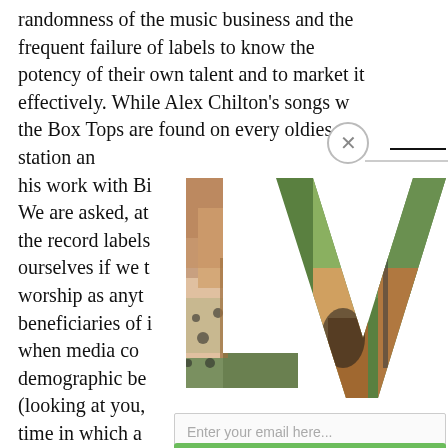randomness of the music business and the frequent failure of labels to know the potency of their own talent and to market it effectively. While Alex Chilton's songs with the Box Tops are found on every oldies station and his work with Big We are asked, at the record labels ourselves if we tr worship as anyth beneficiaries of i when media com demographic bef (looking at you, B time in which a b could go so unre will likely not exp playing for short (interestingly, no
[Figure (photo): A stylized 'LV' logo made from two photos of musicians performing live, forming letter shapes L and V]
Enter your email here...
SUBSCRIBE